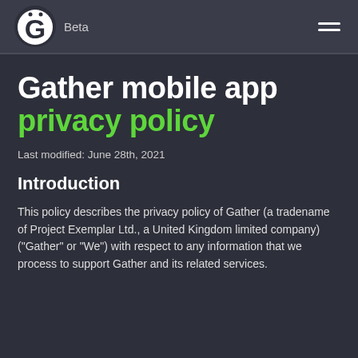Gather Beta [logo] [hamburger menu]
Gather mobile app privacy policy
Last modified: June 28th, 2021
Introduction
This policy describes the privacy policy of Gather (a tradename of Project Exemplar Ltd., a United Kingdom limited company) ("Gather" or "We") with respect to any information that we process to support Gather and its related services.